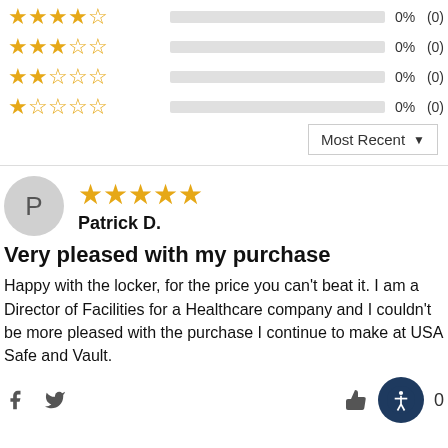[Figure (infographic): Rating breakdown rows: 4-star 0% (0), 3-star 0% (0), 2-star 0% (0), 1-star 0% (0) with empty progress bars]
Most Recent ▼
[Figure (infographic): Reviewer avatar circle with letter P]
[Figure (infographic): 5 filled gold stars rating]
Patrick D.
Very pleased with my purchase
Happy with the locker, for the price you can't beat it. I am a Director of Facilities for a Healthcare company and I couldn't be more pleased with the purchase I continue to make at USA Safe and Vault.
[Figure (infographic): Social share icons (Facebook, Twitter), thumbs up icon, accessibility icon, and 0 count]